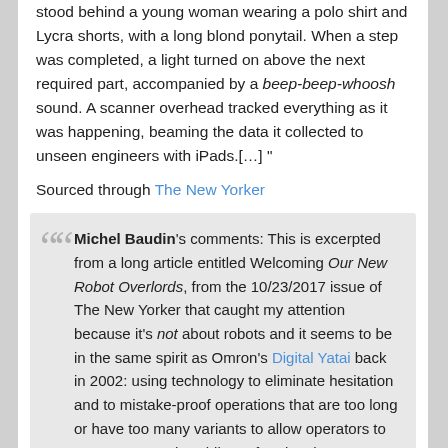stood behind a young woman wearing a polo shirt and Lycra shorts, with a long blond ponytail. When a step was completed, a light turned on above the next required part, accompanied by a beep-beep-whoosh sound. A scanner overhead tracked everything as it was happening, beaming the data it collected to unseen engineers with iPads.[…] "
Sourced through The New Yorker
Michel Baudin's comments: This is excerpted from a long article entitled Welcoming Our New Robot Overlords, from the 10/23/2017 issue of The New Yorker that caught my attention because it's not about robots and it seems to be in the same spirit as Omron's Digital Yatai back in 2002: using technology to eliminate hesitation and to mistake-proof operations that are too long or have too many variants to allow operators to go “on automatic” while performing them.
When repeating the same 60 seconds of work 400 times in a shift, operators quickly develop the ability...